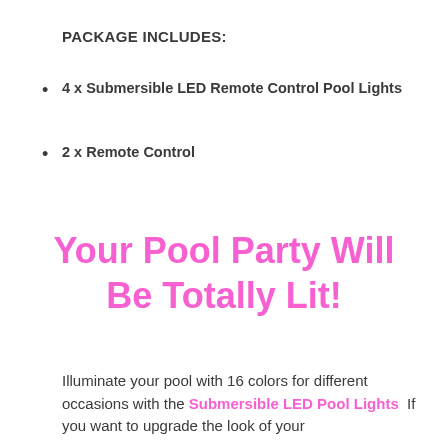PACKAGE INCLUDES:
4 x Submersible LED Remote Control Pool Lights
2 x Remote Control
Your Pool Party Will Be Totally Lit!
Illuminate your pool with 16 colors for different occasions with the Submersible LED Pool Lights  If you want to upgrade the look of your